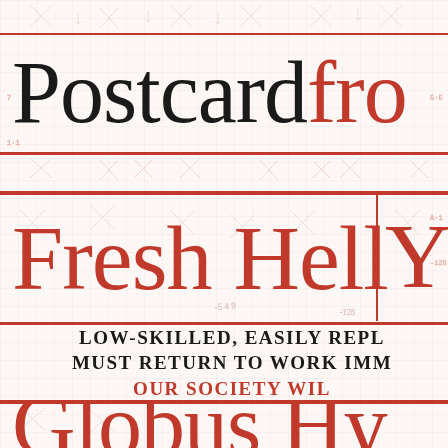Postcard fro
Fresh Hell Y
LOW-SKILLED, EASILY REPL
MUST RETURN TO WORK IMM
OUR SOCIETY WIL
Globus Hy